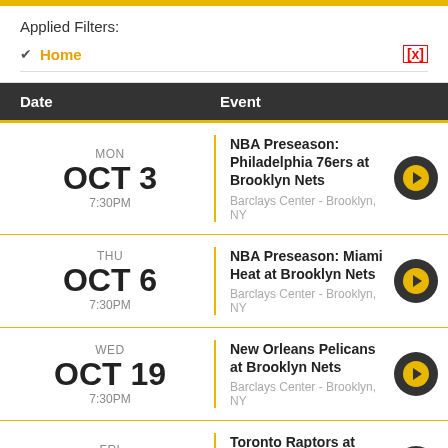Applied Filters:
✓ Home [x]
| Date | Event |
| --- | --- |
| MON OCT 3 7:30PM | NBA Preseason: Philadelphia 76ers at Brooklyn Nets
Barclays Center - Brooklyn, NY |
| THU OCT 6 7:30PM | NBA Preseason: Miami Heat at Brooklyn Nets
Barclays Center - Brooklyn, NY |
| WED OCT 19 7:30PM | New Orleans Pelicans at Brooklyn Nets
Barclays Center - Brooklyn, NY |
| FRI OCT 21 7:30PM | Toronto Raptors at Brooklyn Nets...
Barclays Center - Brooklyn, NY |